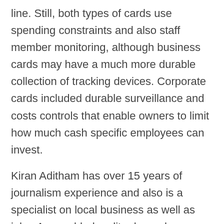line. Still, both types of cards use spending constraints and also staff member monitoring, although business cards may have a much more durable collection of tracking devices. Corporate cards included durable surveillance and costs controls that enable owners to limit how much cash specific employees can invest.
Kiran Aditham has over 15 years of journalism experience and also is a specialist on local business as well as jobs. As an elderly editor he makes certain content stability through truth monitoring as well as sourcing and strengthens our objective to give the most insightful, easily accessible material to job candidates as well as small company owners. Full BioKristen works as a freelance author for The Balance covering local business subjects and terms relating to entrepreneurship, organization financing, and more. With